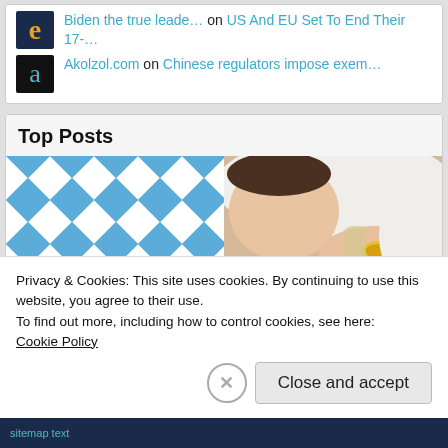Biden the true leade... on US And EU Set To End Their 17-...
Akolzol.com on Chinese regulators impose exem...
Top Posts
[Figure (photo): Blue and white geometric diamond/triangle quilt pattern image on the left, baby being bottle-fed photo on the right]
Privacy & Cookies: This site uses cookies. By continuing to use this website, you agree to their use.
To find out more, including how to control cookies, see here: Cookie Policy
Close and accept